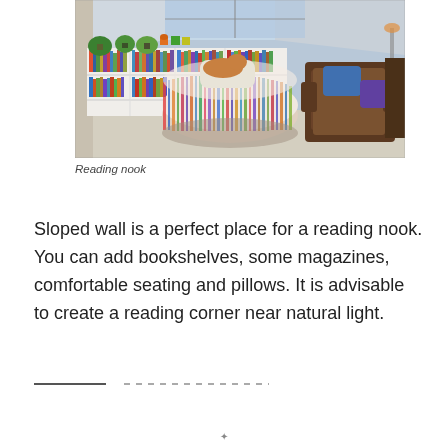[Figure (photo): A reading nook in an attic room with sloped ceiling and large skylight window. A round striped ottoman/seat sits in the center with a pillow and what appears to be a cat on it. White bookshelves line the wall behind, filled with books. A brown leather armchair with blue and purple cushions is on the right side.]
Reading nook
Sloped wall is a perfect place for a reading nook. You can add bookshelves, some magazines, comfortable seating and pillows. It is advisable to create a reading corner near natural light.